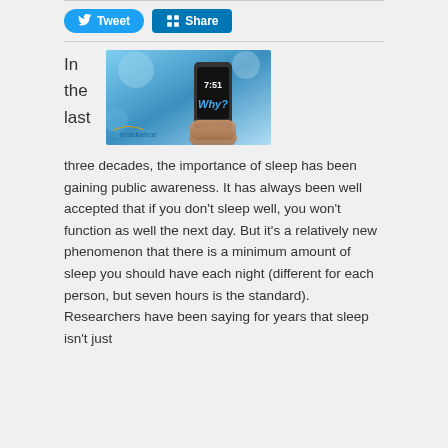[Figure (other): Social sharing buttons: Tweet (Twitter, blue rounded) and Share (LinkedIn, blue square)]
[Figure (photo): A person holding a smartphone displaying the time 7:51 and the word 'Why?' on screen, with a blurred background and a Circadiance logo in the lower left corner.]
In the last three decades, the importance of sleep has been gaining public awareness. It has always been well accepted that if you don't sleep well, you won't function as well the next day. But it's a relatively new phenomenon that there is a minimum amount of sleep you should have each night (different for each person, but seven hours is the standard). Researchers have been saying for years that sleep isn't just